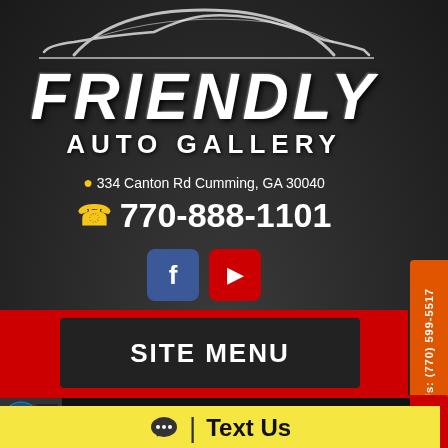[Figure (logo): Friendly Auto Gallery logo with car silhouette above the text]
334 Canton Rd Cumming, GA 30040
770-888-1101
[Figure (other): Facebook and YouTube social media icons]
SITE MENU
Text Us: (770) 599-5517
GET PRE-APPROVED IN SECONDS! No SSN or DOB!
Text Us